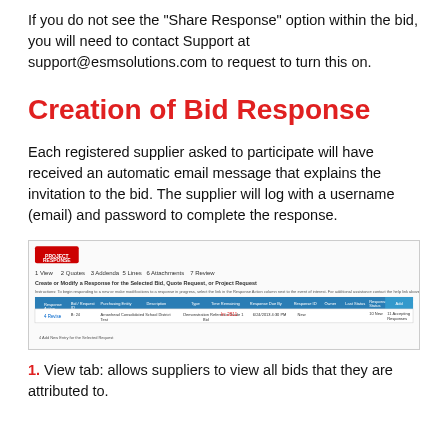If you do not see the "Share Response" option within the bid, you will need to contact Support at support@esmsolutions.com to request to turn this on.
Creation of Bid Response
Each registered supplier asked to participate will have received an automatic email message that explains the invitation to the bid. The supplier will log with a username (email) and password to complete the response.
[Figure (screenshot): Screenshot of a bid response creation interface showing a table with columns for Response Action, Bid/Request ID, Purchasing Entity, Description, Type, Date Remaining, Response Due By, Response ID, Owner, Last Status, Response Status, and Event Status. A red 'PROJECT RESPONSE' button is visible at top left. Numbered tabs 1 through 7 appear across the top.]
1. View tab: allows suppliers to view all bids that they are attributed to.